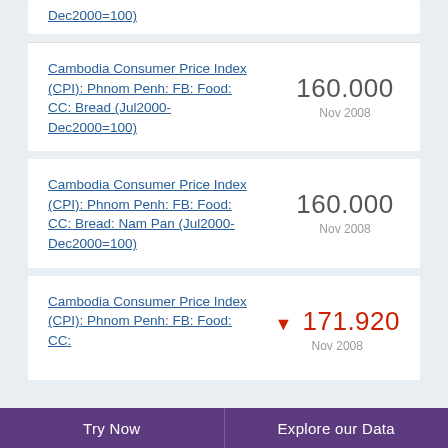Cambodia Consumer Price Index (CPI): Phnom Penh: FB: Food: CC: Bread (Jul2000-Dec2000=100)
Cambodia Consumer Price Index (CPI): Phnom Penh: FB: Food: CC: Bread: Nam Pan (Jul2000-Dec2000=100)
Cambodia Consumer Price Index (CPI): Phnom Penh: FB: Food: CC:
Try Now | Explore our Data